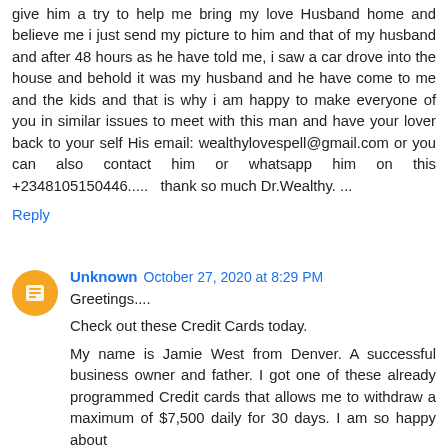give him a try to help me bring my love Husband home and believe me i just send my picture to him and that of my husband and after 48 hours as he have told me, i saw a car drove into the house and behold it was my husband and he have come to me and the kids and that is why i am happy to make everyone of you in similar issues to meet with this man and have your lover back to your self His email: wealthylovespell@gmail.com or you can also contact him or whatsapp him on this +2348105150446.....  thank so much Dr.Wealthy. ...
Reply
Unknown  October 27, 2020 at 8:29 PM
Greetings....

Check out these Credit Cards today.
My name is Jamie West from Denver. A successful business owner and father. I got one of these already programmed Credit cards that allows me to withdraw a maximum of $7,500 daily for 30 days. I am so happy about